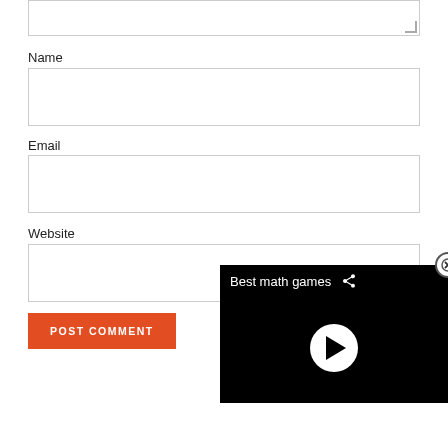Name
[Figure (screenshot): Empty text input box for Name field]
Email
[Figure (screenshot): Empty text input box for Email field]
Website
[Figure (screenshot): Empty text input box for Website field]
POST COMMENT
[Figure (screenshot): Video overlay panel with title 'Best math games' and a play button on black background, with close (X) button]